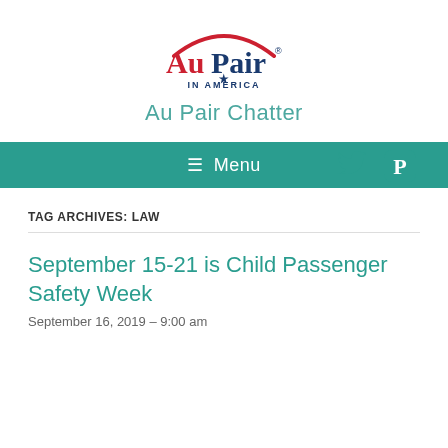[Figure (logo): Au Pair in America logo with red arch, blue and red text, and a star]
Au Pair Chatter
[Figure (other): Twitter and Pinterest social media icons in teal]
≡ Menu
TAG ARCHIVES: LAW
September 15-21 is Child Passenger Safety Week
September 16, 2019 – 9:00 am